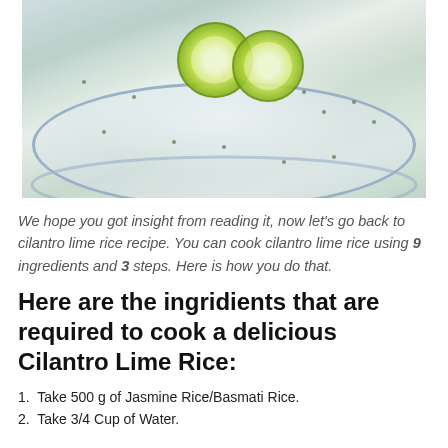[Figure (photo): Photo of cilantro lime rice served on a blue-rimmed white plate, garnished with two lime slices on top, herbs mixed throughout the white rice.]
We hope you got insight from reading it, now let's go back to cilantro lime rice recipe. You can cook cilantro lime rice using 9 ingredients and 3 steps. Here is how you do that.
Here are the ingridients that are required to cook a delicious Cilantro Lime Rice:
Take 500 g of Jasmine Rice/Basmati Rice.
Take 3/4 Cup of Water.